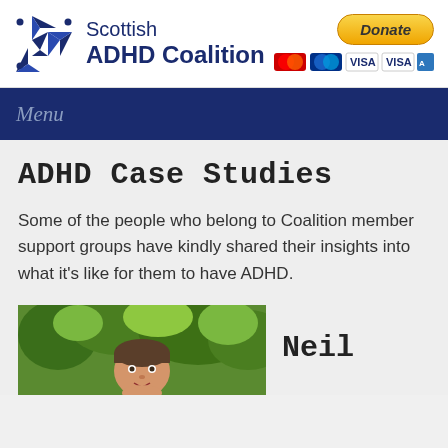[Figure (logo): Scottish ADHD Coalition logo with geometric star/pinwheel shape in dark blue and a Donate button with payment card icons]
Menu
ADHD Case Studies
Some of the people who belong to Coalition member support groups have kindly shared their insights into what it's like for them to have ADHD.
[Figure (photo): Photograph of a man named Neil outdoors with green trees in background]
Neil